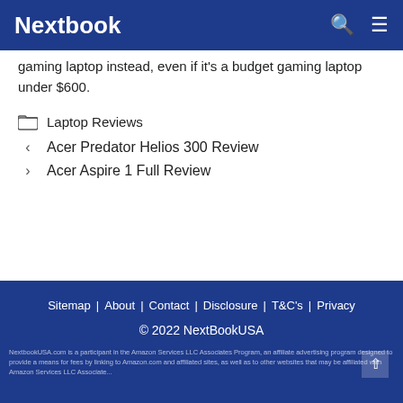Nextbook
gaming laptop instead, even if it's a budget gaming laptop under $600.
Laptop Reviews
Acer Predator Helios 300 Review
Acer Aspire 1 Full Review
Sitemap | About | Contact | Disclosure | T&C's | Privacy
© 2022 NextBookUSA
NextbookUSA.com is a participant in the Amazon Services LLC Associates Program, an affiliate advertising program designed to provide a means for fees by linking to Amazon.com and affiliated sites, as well as to other websites that may be affiliated with Amazon Services LLC Associate...